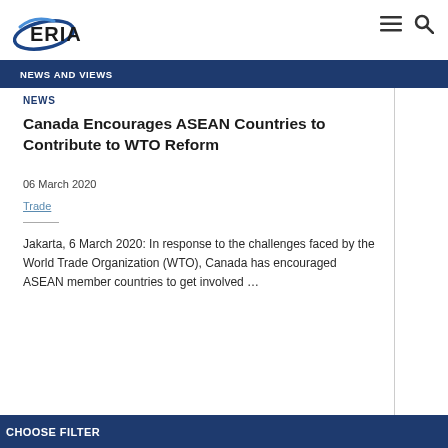[Figure (logo): ERIA logo - stylized elliptical swoosh with ERIA text in bold, dark blue lettering]
NEWS AND VIEWS
NEWS
Canada Encourages ASEAN Countries to Contribute to WTO Reform
06 March 2020
Trade
Jakarta, 6 March 2020: In response to the challenges faced by the World Trade Organization (WTO), Canada has encouraged ASEAN member countries to get involved …
CHOOSE FILTER